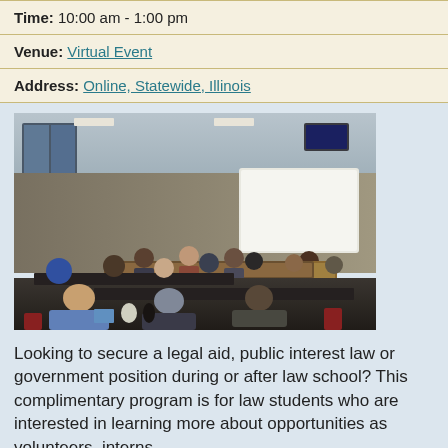Time: 10:00 am - 1:00 pm
Venue: Virtual Event
Address: Online, Statewide, Illinois
[Figure (photo): A classroom or conference room setting showing attendees seated at tables facing a presenter standing near a whiteboard at the front of the room.]
Looking to secure a legal aid, public interest law or government position during or after law school? This complimentary program is for law students who are interested in learning more about opportunities as volunteers, interns,